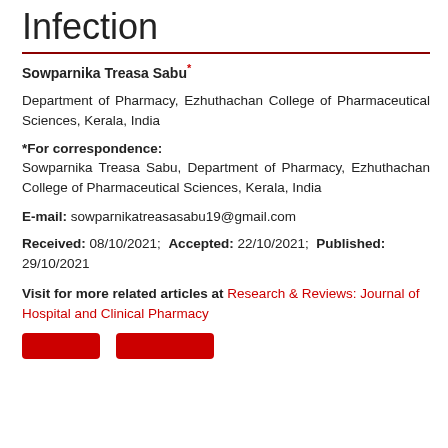Infection
Sowparnika Treasa Sabu*
Department of Pharmacy, Ezhuthachan College of Pharmaceutical Sciences, Kerala, India
*For correspondence:
Sowparnika Treasa Sabu, Department of Pharmacy, Ezhuthachan College of Pharmaceutical Sciences, Kerala, India
E-mail: sowparnikatreasasabu19@gmail.com
Received: 08/10/2021; Accepted: 22/10/2021; Published: 29/10/2021
Visit for more related articles at Research & Reviews: Journal of Hospital and Clinical Pharmacy